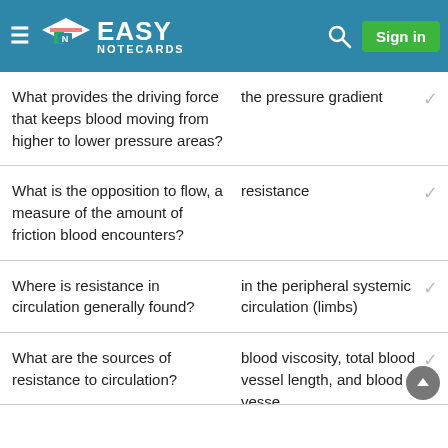Easy Notecards - Sign in
Q: What provides the driving force that keeps blood moving from higher to lower pressure areas? A: the pressure gradient
Q: What is the opposition to flow, a measure of the amount of friction blood encounters? A: resistance
Q: Where is resistance in circulation generally found? A: in the peripheral systemic circulation (limbs)
Q: What are the sources of resistance to circulation? A: blood viscosity, total blood vessel length, and blood vessel diameter